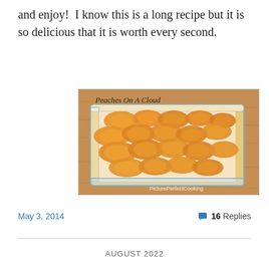and enjoy!  I know this is a long recipe but it is so delicious that it is worth every second.
[Figure (photo): A glass baking dish filled with Peaches On A Cloud dessert — sliced canned peaches arranged on top of a white cream layer, on a wooden surface. Text overlay reads 'Peaches On A Cloud' at top left and 'PicturePerfectCooking' watermark at bottom right.]
May 3, 2014
16 Replies
AUGUST 2022